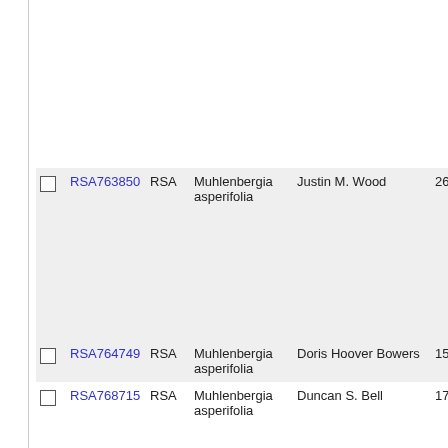|  | ID | Institution | Species | Collector | Number |
| --- | --- | --- | --- | --- | --- |
| ☐ | RSA763850 | RSA | Muhlenbergia asperifolia | Justin M. Wood | 2629 |
| ☐ | RSA764749 | RSA | Muhlenbergia asperifolia | Doris Hoover Bowers | 1580 |
| ☐ | RSA768715 | RSA | Muhlenbergia asperifolia | Duncan S. Bell | 1737 |